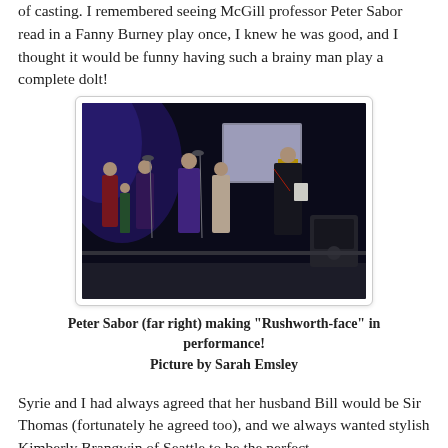of casting. I remembered seeing McGill professor Peter Sabor read in a Fanny Burney play once, I knew he was good, and I thought it would be funny having such a brainy man play a complete dolt!
[Figure (photo): Group of people in period/formal costume performing on a darkened stage with microphone stands. Peter Sabor is on the far right wearing a dark jacket and sash.]
Peter Sabor (far right) making "Rushworth-face" in performance!
Picture by Sarah Emsley
Syrie and I had always agreed that her husband Bill would be Sir Thomas (fortunately he agreed too), and we always wanted stylish Kimberly Brangwin of Seattle to be the perfect